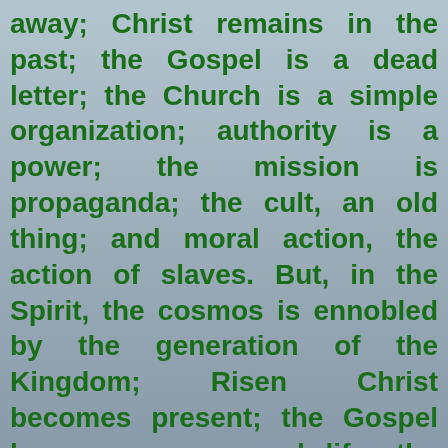away; Christ remains in the past; the Gospel is a dead letter; the Church is a simple organization; authority is a power; the mission is propaganda; the cult, an old thing; and moral action, the action of slaves. But, in the Spirit, the cosmos is ennobled by the generation of the Kingdom; Risen Christ becomes present; the Gospel becomes power and life; the Church realizes Trinitarian communion; authority becomes service; the liturgy is both memorial and anticipation; human action is deified" (Athenagoras). By the Holy